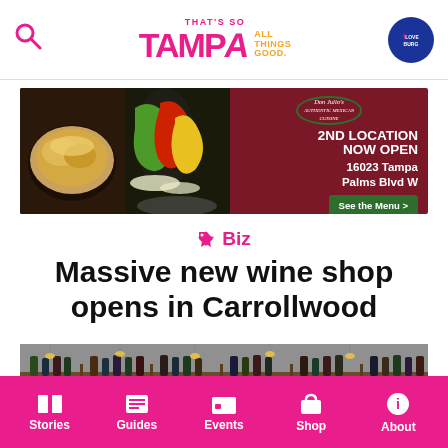That's So Tampa — All Things Good.
[Figure (photo): Advertisement banner for Don Julio's Mexican restaurant showing food photos and text: 2ND LOCATION NOW OPEN, 16023 Tampa Palms Blvd W, See the Menu >]
Biz
Massive new wine shop opens in Carrollwood
[Figure (photo): Interior photo of a wine shop showing shelves stocked with wine bottles]
Stories | Guides | Events | Shop | About